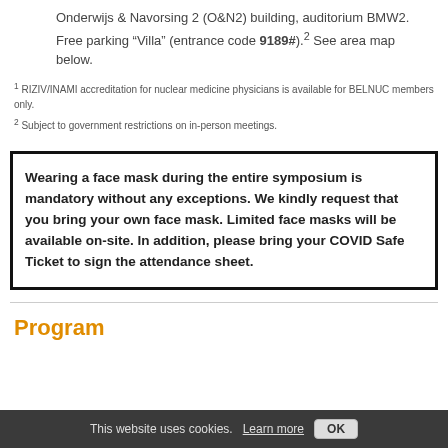Onderwijs & Navorsing 2 (O&N2) building, auditorium BMW2. Free parking “Villa” (entrance code 9189#).² See area map below.
1 RIZIV/INAMI accreditation for nuclear medicine physicians is available for BELNUC members only.
2 Subject to government restrictions on in-person meetings.
Wearing a face mask during the entire symposium is mandatory without any exceptions. We kindly request that you bring your own face mask. Limited face masks will be available on-site. In addition, please bring your COVID Safe Ticket to sign the attendance sheet.
Program
This website uses cookies. Learn more OK